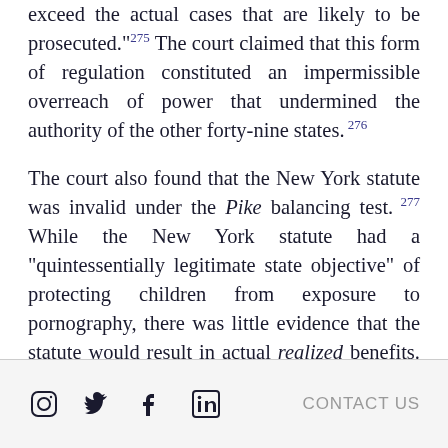exceed the actual cases that are likely to be prosecuted.”²⁷⁵ The court claimed that this form of regulation constituted an impermissible overreach of power that undermined the authority of the other forty-nine states.²⁷⁶
The court also found that the New York statute was invalid under the Pike balancing test.²⁷⁷ While the New York statute had a “quintessentially legitimate state objective” of protecting children from exposure to pornography, there was little evidence that the statute would result in actual realized benefits.²⁷⁸ On the other end of the Pike
Social media icons and CONTACT US